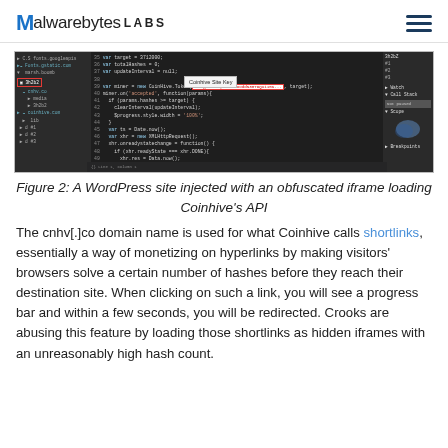Malwarebytes LABS
[Figure (screenshot): Screenshot of browser developer tools showing JavaScript code for a Coinhive miner with the site key highlighted in a red box, and a 'Coinhive Site Key' label overlay. The left panel shows a file tree, the center shows code, and the right shows Watch/Call Stack/Scope/Breakpoints panels.]
Figure 2: A WordPress site injected with an obfuscated iframe loading Coinhive's API
The cnhv[.]co domain name is used for what Coinhive calls shortlinks, essentially a way of monetizing on hyperlinks by making visitors' browsers solve a certain number of hashes before they reach their destination site. When clicking on such a link, you will see a progress bar and within a few seconds, you will be redirected. Crooks are abusing this feature by loading those shortlinks as hidden iframes with an unreasonably high hash count.